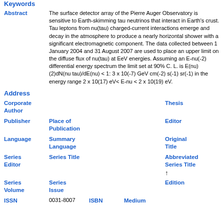Keywords
Abstract: The surface detector array of the Pierre Auger Observatory is sensitive to Earth-skimming tau neutrinos that interact in Earth's crust. Tau leptons from nu(tau) charged-current interactions emerge and decay in the atmosphere to produce a nearly horizontal shower with a significant electromagnetic component. The data collected between 1 January 2004 and 31 August 2007 are used to place an upper limit on the diffuse flux of nu(tau) at EeV energies. Assuming an E-nu(-2) differential energy spectrum the limit set at 90% C. L. is E(nu)(2)dN(nu tau)/dE(nu) < 1: 3 x 10(-7) GeV cm(-2) s(-1) sr(-1) in the energy range 2 x 10(17) eV< E-nu < 2 x 10(19) eV.
Address
Corporate Author
Thesis
Publisher
Place of Publication
Editor
Language
Summary Language
Original Title
Series Editor
Series Title
Abbreviated Series Title
Series Volume
Series Issue
Edition
ISSN
0031-8007
ISBN
Medium